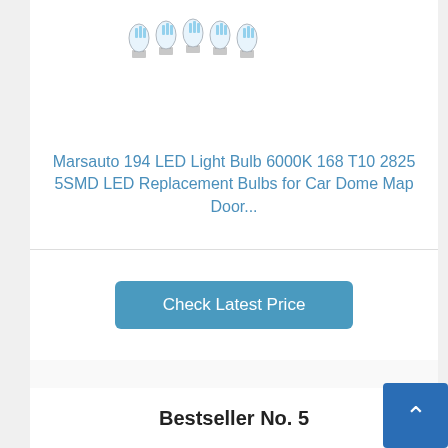[Figure (photo): LED light bulbs product image showing multiple small LED bulbs arranged in a row]
Marsauto 194 LED Light Bulb 6000K 168 T10 2825 5SMD LED Replacement Bulbs for Car Dome Map Door...
Check Latest Price
Bestseller No. 5
[Figure (photo): EPAuto Interior Cabin Air Filter - Cleaner Airflow product box image]